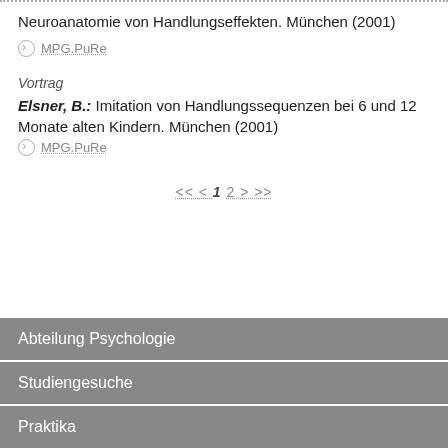Neuroanatomie von Handlungseffekten. München (2001)
MPG.PuRe
Vortrag
Elsner, B.: Imitation von Handlungssequenzen bei 6 und 12 Monate alten Kindern. München (2001)
MPG.PuRe
<< < 1 2 > >>
Abteilung Psychologie
Studiengesuche
Praktika